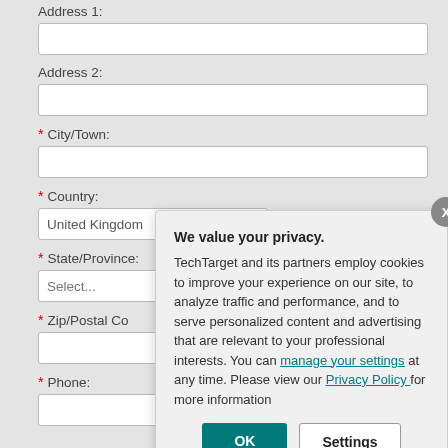Address 1:
Address 2:
* City/Town:
* Country: United Kingdom
* State/Province: Select...
* Zip/Postal Code:
* Phone:
We value your privacy. TechTarget and its partners employ cookies to improve your experience on our site, to analyze traffic and performance, and to serve personalized content and advertising that are relevant to your professional interests. You can manage your settings at any time. Please view our Privacy Policy for more information